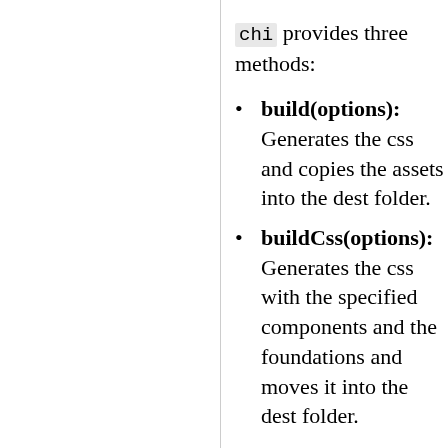chi provides three methods:
build(options): Generates the css and copies the assets into the dest folder.
buildCss(options): Generates the css with the specified components and the foundations and moves it into the dest folder.
copyAssets(options): Copies the assets used by the